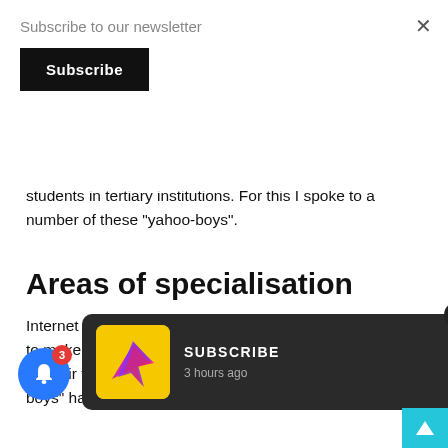Subscribe to our newsletter
Subscribe
determine how this subculture is organised among students in tertiary institutions. For this I spoke to a number of these “yahoo-boys”.
Areas of specialisation
Internet fraud is organised along areas of specialisation to make a success... curity netw... ch their tents. Quick monetary reward is what “yahoo boys” have in mind. They use different schemes
[Figure (screenshot): Dark rounded notification popup showing a yellow icon with a purple/pink arrow logo and text 'SUBSCRIBE' with '3 hours ago' below, plus an X close button]
[Figure (screenshot): Blue circular bell notification button with red badge showing number 3]
[Figure (screenshot): Cyan/teal scroll-to-top button in bottom right corner]